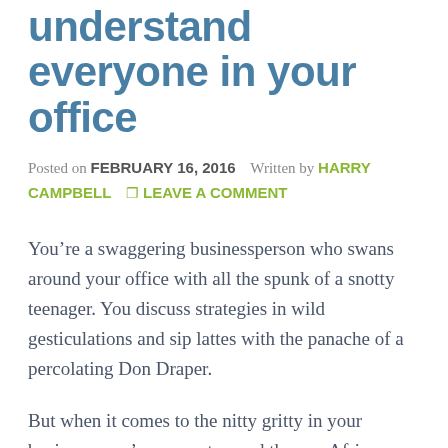understand everyone in your office
Posted on FEBRUARY 16, 2016   Written by HARRY CAMPBELL   🏷 LEAVE A COMMENT
You’re a swaggering businessperson who swans around your office with all the spunk of a snotty teenager. You discuss strategies in wild gesticulations and sip lattes with the panache of a percolating Don Draper.
But when it comes to the nitty gritty in your business, you’re more stumped than an African elephant trying to comprehend an iPhone. Your eyes glaze over when programmers start discussing C++, feel lost chatting to your HR department and blag your way through design